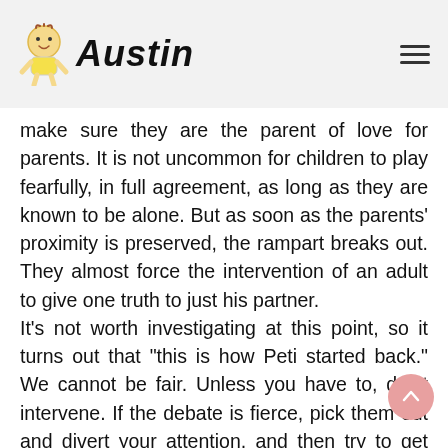Austin
make sure they are the parent of love for parents. It is not uncommon for children to play fearfully, in full agreement, as long as they are known to be alone. But as soon as the parents' proximity is preserved, the rampart breaks out. They almost force the intervention of an adult to give one truth to just his partner.
It's not worth investigating at this point, so it turns out that "this is how Peti started back." We cannot be fair. Unless you have to, don't intervene. If the debate is fierce, pick them out and divert your attention, and then try to get busy. Let's try to stay calm. When we go out and make a big scene, the kids have achieved their goal; they have attracted the